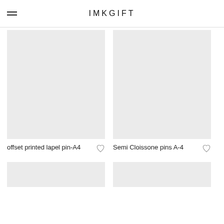IMKGIFT
[Figure (photo): Gray placeholder product image for offset printed lapel pin A4]
offset printed lapel pin-A4
[Figure (photo): Gray placeholder product image for Semi Cloissone pins A-4]
Semi Cloissone pins A-4
[Figure (photo): Gray placeholder product image (partial, bottom of page, left)]
[Figure (photo): Gray placeholder product image (partial, bottom of page, right)]